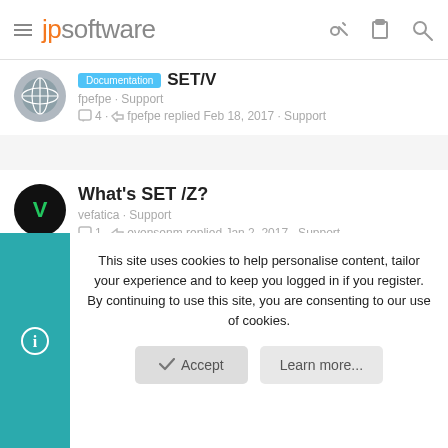jpsoftware
Documentation SET/V
fpefpe · Support
4 · fpefpe replied Feb 18, 2017 · Support
What's SET /Z?
vefatica · Support
1 · evensenm replied Jan 2, 2017 · Support
Debugger: how to set %1 variable?
BeechComer · Support
3 · BeechComer replied Nov 11, 2016 · Support
This site uses cookies to help personalise content, tailor your experience and to keep you logged in if you register.
By continuing to use this site, you are consenting to our use of cookies.